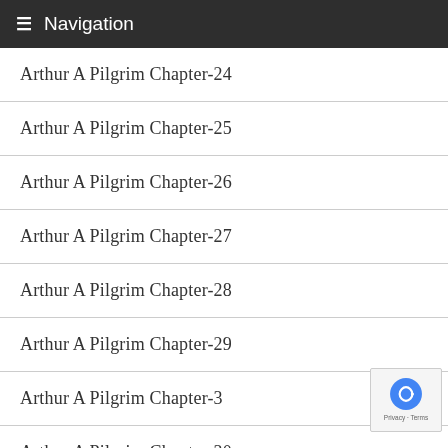Navigation
Arthur A Pilgrim Chapter-24
Arthur A Pilgrim Chapter-25
Arthur A Pilgrim Chapter-26
Arthur A Pilgrim Chapter-27
Arthur A Pilgrim Chapter-28
Arthur A Pilgrim Chapter-29
Arthur A Pilgrim Chapter-3
Arthur A Pilgrim Chapter-30
Arthur A Pilgrim Chapter-31